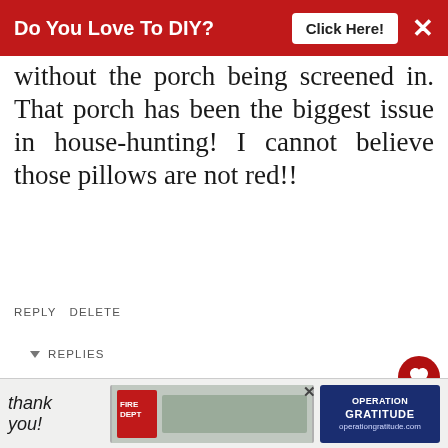[Figure (screenshot): Red advertisement banner at top: 'Do You Love To DIY?' with 'Click Here!' button and X close button]
without the porch being screened in. That porch has been the biggest issue in house-hunting! I cannot believe those pillows are not red!!
REPLY DELETE
REPLIES
Kim
JULY 11, 2015 AT 11:10 AM
Good luck on that house hunt! Fingers cross you find your own cover dream porch and pillows
[Figure (screenshot): WHAT'S NEXT: Cottage Style Summer... promotional widget with thumbnail]
[Figure (screenshot): Bottom advertisement banner: Thank you with Operation Gratitude ad]